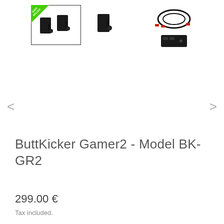[Figure (photo): Three product thumbnail images of the ButtKicker Gamer2 device. First thumbnail (selected, with border and best-seller green badge) shows two black transducer units side by side. Second thumbnail shows a single transducer unit. Third thumbnail shows the full kit with cables, control box, and accessories.]
ButtKicker Gamer2 - Model BK-GR2
299.00 €
Tax included.